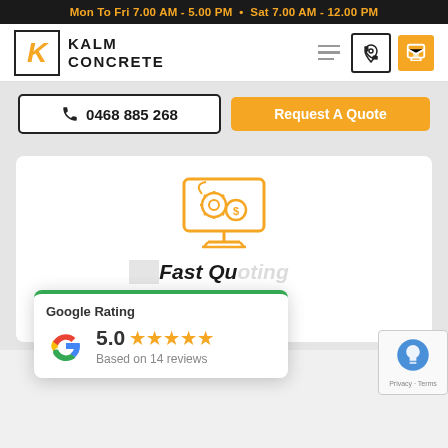Mon To Fri 7.00 AM - 5.00 PM  •  Sat 7.00 AM - 12.00 PM
[Figure (logo): Kalm Concrete logo with orange K in square and bold text KALM CONCRETE]
0468 885 268
Request A Quote
[Figure (illustration): Orange icon of a computer monitor with gears and dollar/settings symbols]
Fast Quoting
Google Rating
5.0  ★★★★★  Based on 14 reviews
[Figure (logo): Google G logo multicolor]
[Figure (illustration): reCAPTCHA widget with Privacy - Terms text]